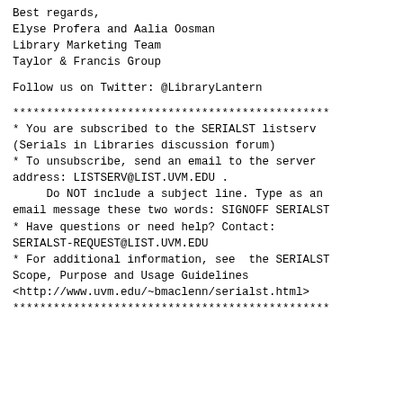Best regards,
Elyse Profera and Aalia Oosman
Library Marketing Team
Taylor & Francis Group
Follow us on Twitter: @LibraryLantern
***********************************************
* You are subscribed to the SERIALST listserv
(Serials in Libraries discussion forum)
* To unsubscribe, send an email to the server
address: LISTSERV@LIST.UVM.EDU .
     Do NOT include a subject line. Type as an
email message these two words: SIGNOFF SERIALST
* Have questions or need help? Contact:
SERIALST-REQUEST@LIST.UVM.EDU
* For additional information, see  the SERIALST
Scope, Purpose and Usage Guidelines
<http://www.uvm.edu/~bmaclenn/serialst.html>
***********************************************